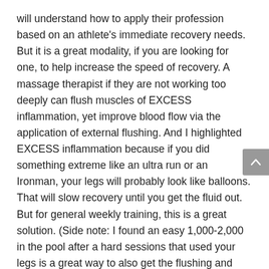will understand how to apply their profession based on an athlete's immediate recovery needs. But it is a great modality, if you are looking for one, to help increase the speed of recovery. A massage therapist if they are not working too deeply can flush muscles of EXCESS inflammation, yet improve blood flow via the application of external flushing. And I highlighted EXCESS inflammation because if you did something extreme like an ultra run or an Ironman, your legs will probably look like balloons. That will slow recovery until you get the fluid out. But for general weekly training, this is a great solution. (Side note: I found an easy 1,000-2,000 in the pool after a hard sessions that used your legs is a great way to also get the flushing and speed recovery.) What about compression? It's the craze. I don't want to comment on whether it will improve your race